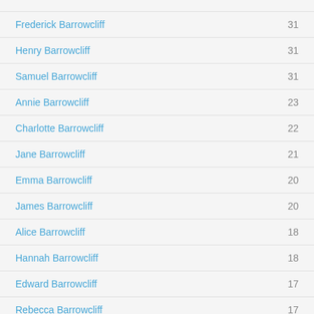Frederick Barrowcliff  31
Henry Barrowcliff  31
Samuel Barrowcliff  31
Annie Barrowcliff  23
Charlotte Barrowcliff  22
Jane Barrowcliff  21
Emma Barrowcliff  20
James Barrowcliff  20
Alice Barrowcliff  18
Hannah Barrowcliff  18
Edward Barrowcliff  17
Rebecca Barrowcliff  17
Eliza Barrowcliff  16